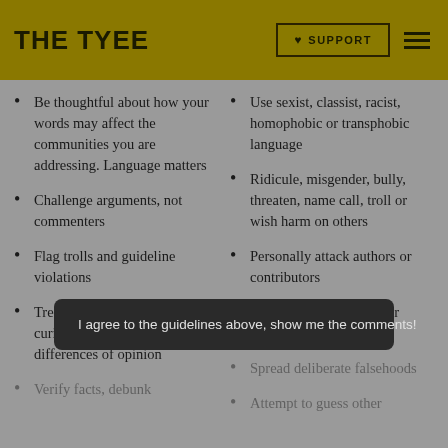THE TYEE | SUPPORT | menu
Be thoughtful about how your words may affect the communities you are addressing. Language matters
Challenge arguments, not commenters
Flag trolls and guideline violations
Treat all with respect and curiosity and welcome differences of opinion
Verify facts, debunk
Use sexist, classist, racist, homophobic or transphobic language
Ridicule, misgender, bully, threaten, name call, troll or wish harm on others
Personally attack authors or contributors
Spread misinformation or perpetuate conspiracies
Spread deliberate falsehoods
Attempt to guess other
I agree to the guidelines above, show me the comments!